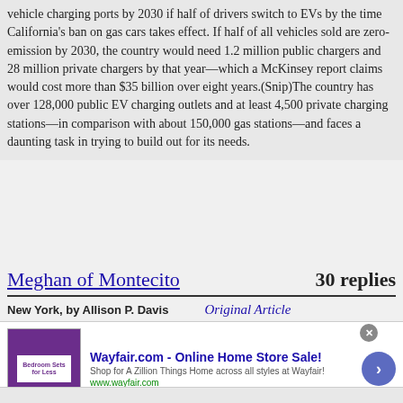vehicle charging ports by 2030 if half of drivers switch to EVs by the time California's ban on gas cars takes effect. If half of all vehicles sold are zero-emission by 2030, the country would need 1.2 million public chargers and 28 million private chargers by that year—which a McKinsey report claims would cost more than $35 billion over eight years.(Snip)The country has over 128,000 public EV charging outlets and at least 4,500 private charging stations—in comparison with about 150,000 gas stations—and faces a daunting task in trying to build out for its needs.
Meghan of Montecito    30 replies
New York, by Allison P. Davis    Original Article
[Figure (screenshot): Wayfair.com advertisement banner: Online Home Store Sale! with purple bedroom image and arrow button]